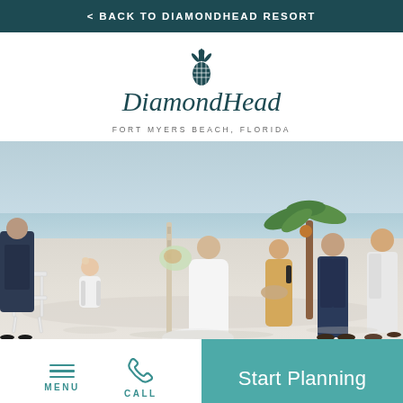< BACK TO DIAMONDHEAD RESORT
[Figure (logo): DiamondHead Resort logo with pineapple icon and cursive DiamondHead text]
FORT MYERS BEACH, FLORIDA
[Figure (photo): Beach wedding ceremony photo showing bride and groom holding hands on white sand beach with wedding party, officiant, palm tree decoration, and white folding chair in foreground]
MENU
CALL
Start Planning